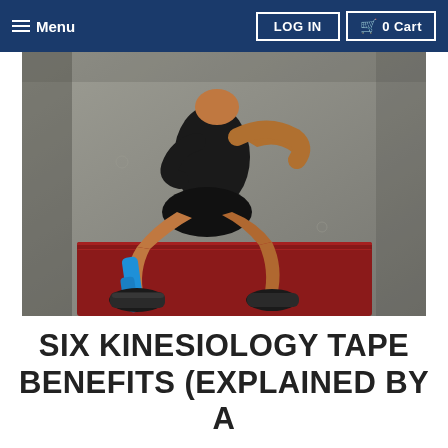Menu | LOG IN | 0 Cart
[Figure (photo): A fit woman wearing black athletic wear and kinesiology tape (blue) on her lower leg, performing a squat or step exercise on a red box against a concrete wall background.]
SIX KINESIOLOGY TAPE BENEFITS (EXPLAINED BY A